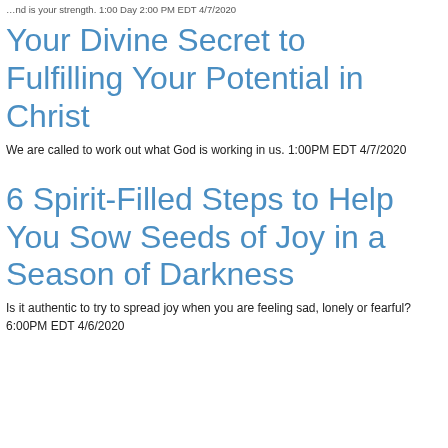…nd is your strength. 1:00 Day 2:00 PM EDT 4/7/2020
Your Divine Secret to Fulfilling Your Potential in Christ
We are called to work out what God is working in us. 1:00PM EDT 4/7/2020
6 Spirit-Filled Steps to Help You Sow Seeds of Joy in a Season of Darkness
Is it authentic to try to spread joy when you are feeling sad, lonely or fearful? 6:00PM EDT 4/6/2020